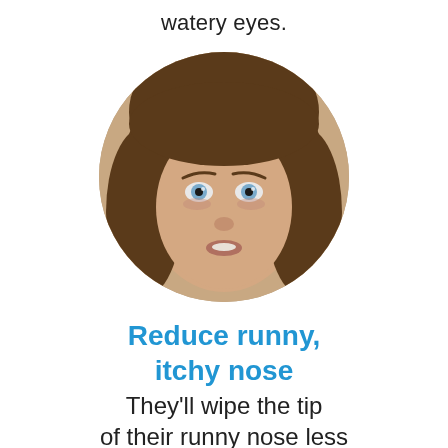watery eyes.
[Figure (photo): Circular cropped photo of a young child with brown hair and blue eyes, looking directly at the camera with slightly parted lips, against a white background.]
Reduce runny, itchy nose
They'll wipe the tip of their runny nose less